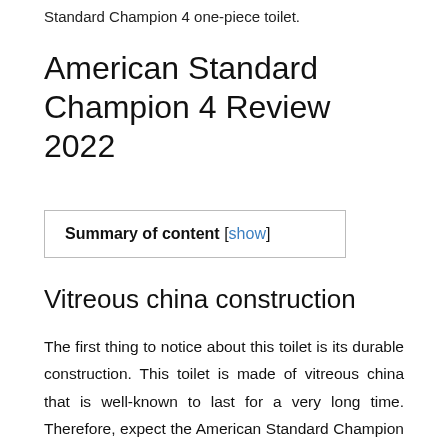Standard Champion 4 one-piece toilet.
American Standard Champion 4 Review 2022
| Summary of content [show] |
Vitreous china construction
The first thing to notice about this toilet is its durable construction. This toilet is made of vitreous china that is well-known to last for a very long time. Therefore, expect the American Standard Champion 4 one-piece toilet to serve you for 10+ years. Vitreous china is also simpl…